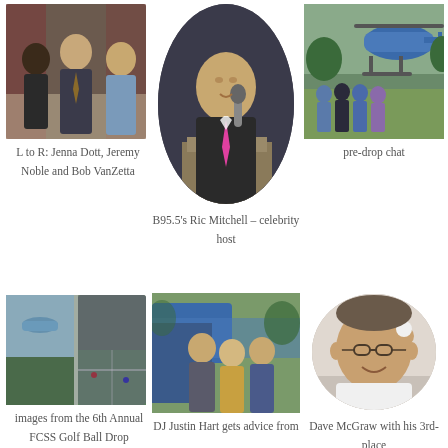[Figure (photo): Three people chatting at an indoor event – L to R: Jenna Dott, Jeremy Noble and Bob VanZetta]
[Figure (photo): Man speaking at podium with microphone wearing pink tie – B95.5's Ric Mitchell, celebrity host]
[Figure (photo): Group of people near a blue helicopter outdoors – pre-drop chat]
L to R: Jenna Dott, Jeremy Noble and Bob VanZetta
B95.5's Ric Mitchell – celebrity host
pre-drop chat
[Figure (photo): Images from the 6th Annual FCSS Golf Ball Drop – two side by side aerial/field shots]
[Figure (photo): DJ Justin Hart gets advice from someone near a blue helicopter]
[Figure (photo): Dave McGraw with his 3rd-place golf ball, smiling]
images from the 6th Annual FCSS Golf Ball Drop
DJ Justin Hart gets advice from
Dave McGraw with his 3rd-place